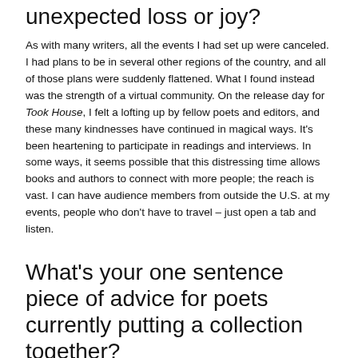unexpected loss or joy?
As with many writers, all the events I had set up were canceled. I had plans to be in several other regions of the country, and all of those plans were suddenly flattened. What I found instead was the strength of a virtual community. On the release day for Took House, I felt a lofting up by fellow poets and editors, and these many kindnesses have continued in magical ways. It's been heartening to participate in readings and interviews. In some ways, it seems possible that this distressing time allows books and authors to connect with more people; the reach is vast. I can have audience members from outside the U.S. at my events, people who don't have to travel – just open a tab and listen.
What's your one sentence piece of advice for poets currently putting a collection together?
Patience, more patience, effort, linguistic attention, and more